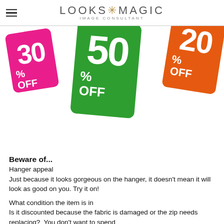LOOKS MAGIC IMAGE CONSULTANT
[Figure (illustration): Three discount price tags: a pink tag showing '30% OFF' rotated left, a large green tag showing '50% OFF' in the center, and an orange tag showing '20% OFF' on the right.]
Beware of...
Hanger appeal
Just because it looks gorgeous on the hanger, it doesn't mean it will look as good on you. Try it on!
What condition the item is in
Is it discounted because the fabric is damaged or the zip needs replacing?  You don't want to spend